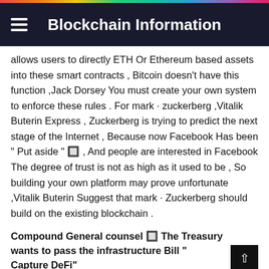Blockchain Information
allows users to directly ETH Or Ethereum based assets into these smart contracts , Bitcoin doesn't have this function ,Jack Dorsey You must create your own system to enforce these rules . For mark · zuckerberg ,Vitalik Buterin Express , Zuckerberg is trying to predict the next stage of the Internet , Because now Facebook Has been " Put aside " 🔲 , And people are interested in Facebook The degree of trust is not as high as it used to be , So building your own platform may prove unfortunate ,Vitalik Buterin Suggest that mark · Zuckerberg should build on the existing blockchain .
Compound General counsel 🔲 The Treasury wants to pass the infrastructure Bill " Capture DeFi"
8 month 18 Daily news ,Compound General counsel JakeChervinsky Think , The cryptocurrency clause added